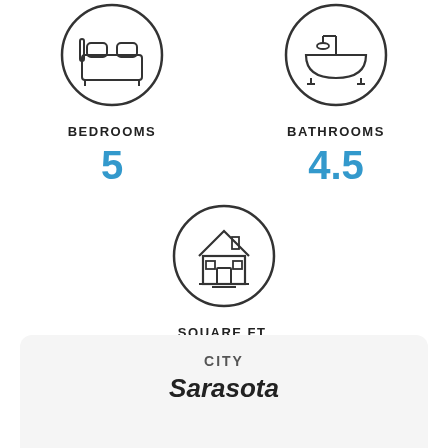[Figure (illustration): Circular icon with a bed/bedroom symbol]
BEDROOMS
5
[Figure (illustration): Circular icon with a bathtub/bathroom symbol]
BATHROOMS
4.5
[Figure (illustration): Circular icon with a house symbol]
SQUARE FT.
7500
CITY
Sarasota